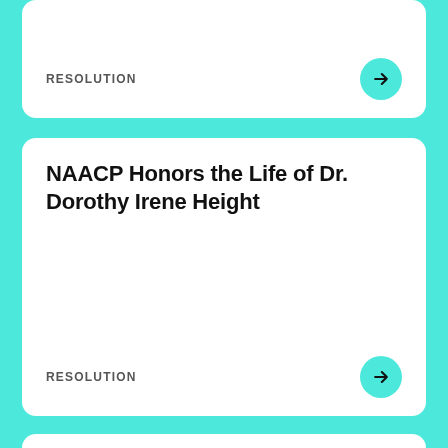RESOLUTION
NAACP Honors the Life of Dr. Dorothy Irene Height
RESOLUTION
NAACP Recognizes African-American Female Fire Chief